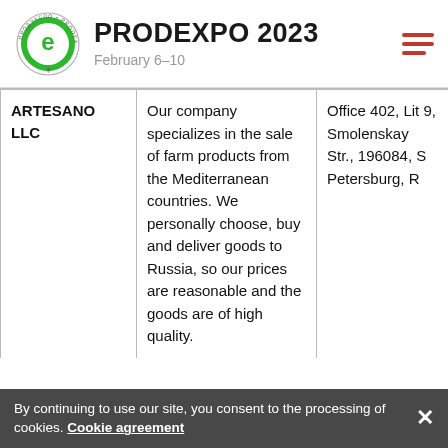PRODEXPO 2023 February 6–10
| Company | Description | Address |
| --- | --- | --- |
| ARTESANO LLC | Our company specializes in the sale of farm products from the Mediterranean countries. We personally choose, buy and deliver goods to Russia, so our prices are reasonable and the goods are of high quality. | Office 402, Lit... 9, Smolenskaya Str., 196084, St. Petersburg, Ru... |
By continuing to use our site, you consent to the processing of cookies. Cookie agreement